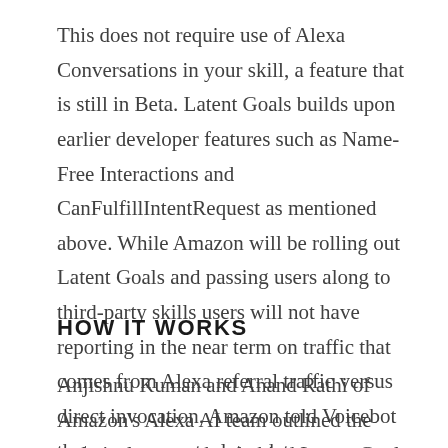This does not require use of Alexa Conversations in your skill, a feature that is still in Beta. Latent Goals builds upon earlier developer features such as Name-Free Interactions and CanFulfillIntentRequest as mentioned above. While Amazon will be rolling out Latent Goals and passing users along to third-party skills users will not have reporting in the near term on traffic that comes from Alexa referral traffic versus direct invocation. Amazon told Voicebot that may come at a later date.
HOW IT WORKS
Anjishnu Kuman and Anand Rathi of Amazon's Alexa AI team outlined the technical approaches behind Latent Goals in an Amazon Science blog post this morning. The